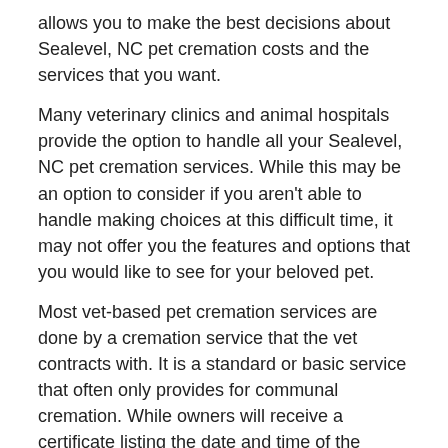allows you to make the best decisions about Sealevel, NC pet cremation costs and the services that you want.
Many veterinary clinics and animal hospitals provide the option to handle all your Sealevel, NC pet cremation services. While this may be an option to consider if you aren't able to handle making choices at this difficult time, it may not offer you the features and options that you would like to see for your beloved pet.
Most vet-based pet cremation services are done by a cremation service that the vet contracts with. It is a standard or basic service that often only provides for communal cremation. While owners will receive a certificate listing the date and time of the cremation as well as the location where the cremains were scattered, there is no option for the owner to retrieve the cremains after these types of Sealevel, NC pet cremation services.
Individual Pet Cremation Services in Sealevel, NC